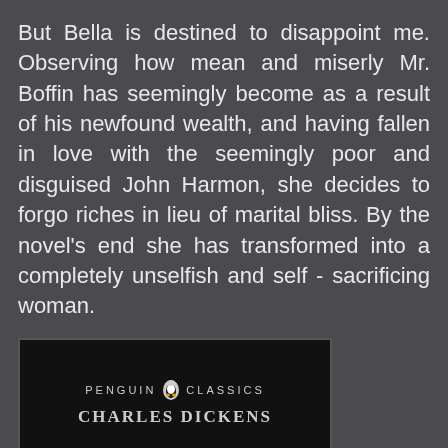But Bella is destined to disappoint me. Observing how mean and miserly Mr. Boffin has seemingly become as a result of his newfound wealth, and having fallen in love with the seemingly poor and disguised John Harmon, she decides to forgo riches in lieu of marital bliss. By the novel’s end she has transformed into a completely unselfish and self - sacrificing woman.
[Figure (photo): Penguin Classics book cover for Charles Dickens novel, showing black cover with Penguin Classics logo and author name in white text]